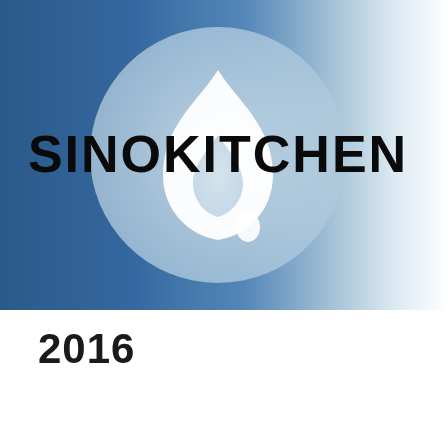[Figure (logo): Sinokitchen logo: a light blue circle containing a white flame/water drop icon, with the text SINOKITCHEN in bold black stylized font overlaid on the circle, set against a blue gradient background.]
2016